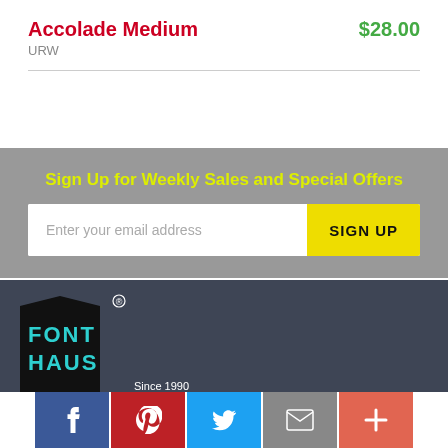Accolade Medium
$28.00
URW
Sign Up for Weekly Sales and Special Offers
Enter your email address
SIGN UP
[Figure (logo): FONTHAUS logo with teal text on black background with registered trademark symbol]
Since 1990
[Figure (infographic): Social media buttons: Facebook (blue f), Pinterest (red P), Twitter (blue bird), Email (grey envelope), More (orange plus)]